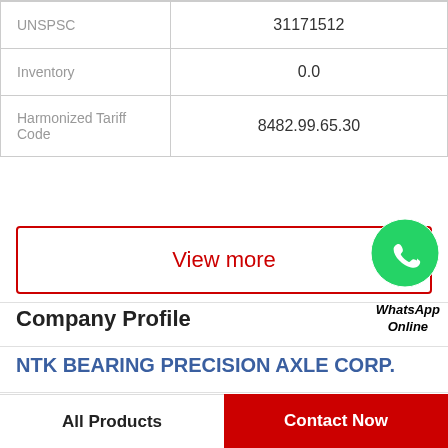| Field | Value |
| --- | --- |
| UNSPSC | 31171512 |
| Inventory | 0.0 |
| Harmonized Tariff Code | 8482.99.65.30 |
View more
[Figure (logo): WhatsApp green phone icon circle]
WhatsApp Online
Company Profile
NTK BEARING PRECISION AXLE CORP.
Phone   656-5248
All Products
Contact Now